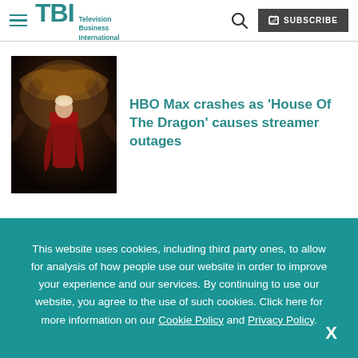TBI Television Business International — SUBSCRIBE
[Figure (photo): Thumbnail image from House Of The Dragon showing a figure in red robes on a dragon throne]
HBO Max crashes as 'House Of The Dragon' causes streamer outages
This website uses cookies, including third party ones, to allow for analysis of how people use our website in order to improve your experience and our services. By continuing to use our website, you agree to the use of such cookies. Click here for more information on our Cookie Policy and Privacy Policy.